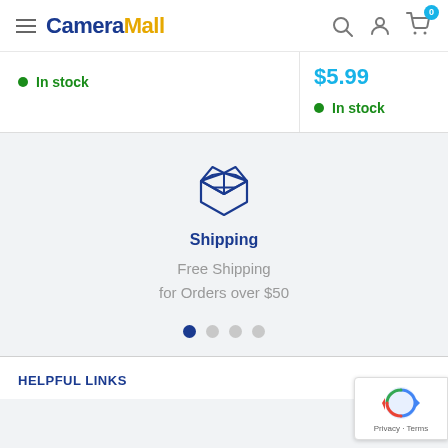CameraMall
In stock
$5.99
In stock
[Figure (illustration): Box/shipping package icon in dark blue outline style]
Shipping
Free Shipping
for Orders over $50
HELPFUL LINKS